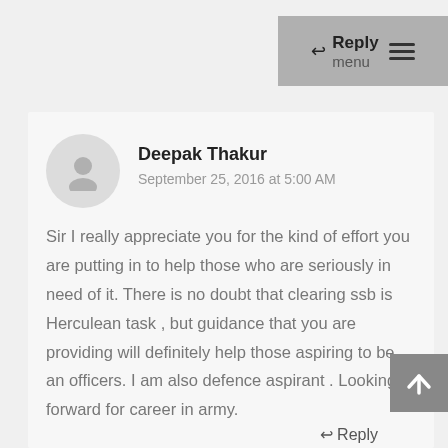↩ Reply  menu ≡
Deepak Thakur
September 25, 2016 at 5:00 AM
Sir I really appreciate you for the kind of effort you are putting in to help those who are seriously in need of it. There is no doubt that clearing ssb is Herculean task , but guidance that you are providing will definitely help those aspiring to be an officers. I am also defence aspirant . Looking forward for career in army.
↩ Reply